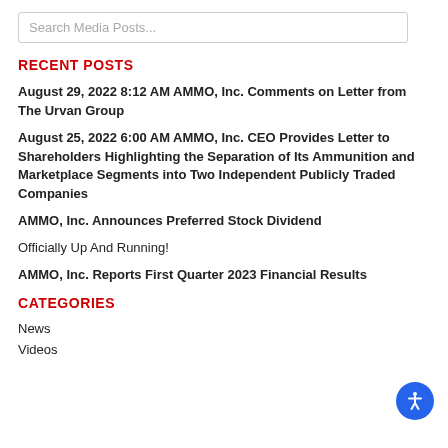Search Media Posts...
RECENT POSTS
August 29, 2022 8:12 AM AMMO, Inc. Comments on Letter from The Urvan Group
August 25, 2022 6:00 AM AMMO, Inc. CEO Provides Letter to Shareholders Highlighting the Separation of Its Ammunition and Marketplace Segments into Two Independent Publicly Traded Companies
AMMO, Inc. Announces Preferred Stock Dividend
Officially Up And Running!
AMMO, Inc. Reports First Quarter 2023 Financial Results
CATEGORIES
News
Videos